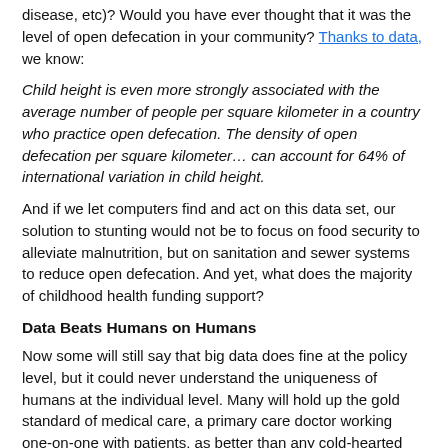disease, etc)? Would you have ever thought that it was the level of open defecation in your community? Thanks to data, we know:
Child height is even more strongly associated with the average number of people per square kilometer in a country who practice open defecation. The density of open defecation per square kilometer… can account for 64% of international variation in child height.
And if we let computers find and act on this data set, our solution to stunting would not be to focus on food security to alleviate malnutrition, but on sanitation and sewer systems to reduce open defecation. And yet, what does the majority of childhood health funding support?
Data Beats Humans on Humans
Now some will still say that big data does fine at the policy level, but it could never understand the uniqueness of humans at the individual level. Many will hold up the gold standard of medical care, a primary care doctor working one-on-one with patients, as better than any cold-hearted computer. And they would be wrong. Indiana University researchers found that they could reduce medical costs by 50% and increase patient outcomes by 40% if a computer chose the treatment via predictive modeling techniques